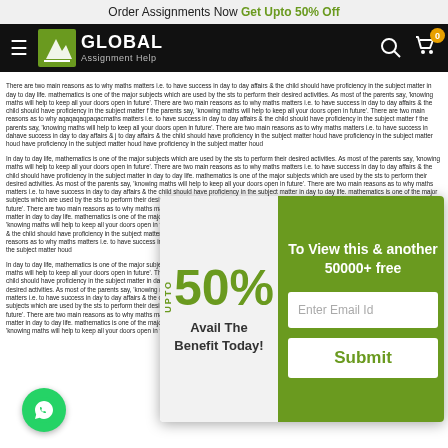Order Assignments Now Get Upto 50% Off
[Figure (logo): Global Assignment Help logo with hamburger menu, search and cart icons on black navbar]
There are two main reasons as to why maths matters i.e. to have success in day to day affairs & the child should have proficiency in the subject matter in day to day life. mathematics is one of the major subjects which are used by the sts to perform their desired activities. As most of the parents say, 'knowing maths will help to keep all your doors open in future'. There are two main reasons as to why maths matters i.e. to have success in day to day affairs & the child should have proficiency in the subject matter f the parents say, 'knowing maths will help to keep all your doors open in future'. There are two main reasons as to why aqaqaqaqpaqacmaths matters i.e. to have success in day to day affairs & the child should have proficiency in the subject matter f the parents say, 'knowing maths will help to keep all your doors open in future'. There are two main reasons as to why maths matters i.e. to have success in dahave success in day to day affairs & j to day affairs & the child should have proficiency in the subject matter houd have proficiency in the subject matter houd have proficiency in the subject matter houd have proficiency in the subject matter houd
In day to day life, mathematics is one of the major subjects which are used by the sts to perform their desired activities. As most of the parents say, 'knowing maths will help to keep all your doors open in future'. There are two main reasons as to why maths matters i.e. to have success in day to day affairs & the child should have proficiency in the subject matter in day to day life. mathematics is one of the major subjects which are used by the sts to perform their desired activities. As most of the parents say, 'knowing maths will help to keep all your doors open in future'. There are two main reasons as to why maths matters i.e. to have success in day to day affairs & the child should have proficiency in the subject matter in day to day life. mathematics is one of the major subjects which are used by the sts to perform their desired activities. As most of the parents say, knowing maths will help to keep all your doors open in future'. There are two main...
[Figure (infographic): Popup with UPTO 50% Avail The Benefit Today on left white panel, and To View this & another 50000+ free with Enter Email Id input and Submit button on green right panel]
[Figure (logo): WhatsApp green circle button]